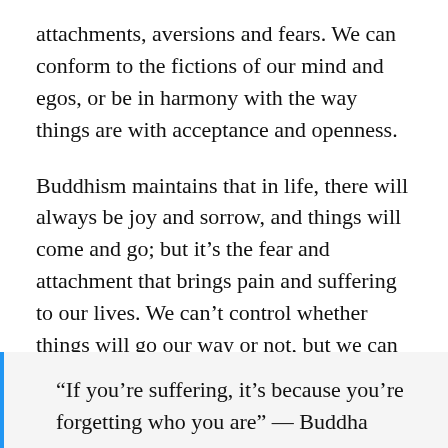attachments, aversions and fears. We can conform to the fictions of our mind and egos, or be in harmony with the way things are with acceptance and openness.
Buddhism maintains that in life, there will always be joy and sorrow, and things will come and go; but it's the fear and attachment that brings pain and suffering to our lives. We can't control whether things will go our way or not, but we can control our minds, our responses and our conduct. By looking at our fears with compassion and openness and uprooting our delusions, we can start liberating our lives from the endless cycle of suffering. Then we can take life as it comes to us.
“If you’re suffering, it’s because you’re forgetting who you are” — Buddha